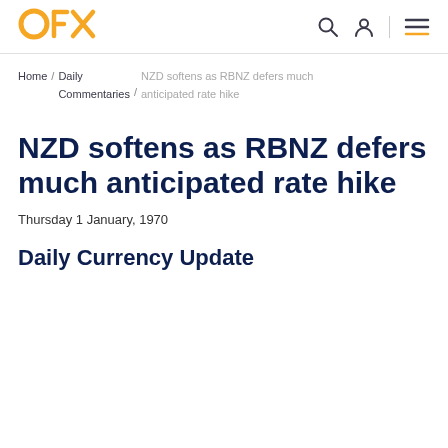OFX
Home / Daily Commentaries / NZD softens as RBNZ defers much anticipated rate hike
NZD softens as RBNZ defers much anticipated rate hike
Thursday 1 January, 1970
Daily Currency Update